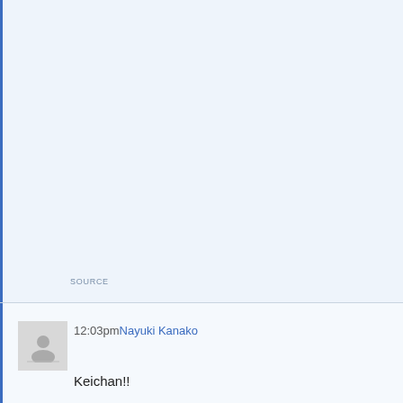[Figure (other): Large light blue empty content area with left blue border]
SOURCE
[Figure (other): User avatar placeholder icon (gray silhouette of person with no photo)]
12:03pm Nayuki Kanako
Keichan!!